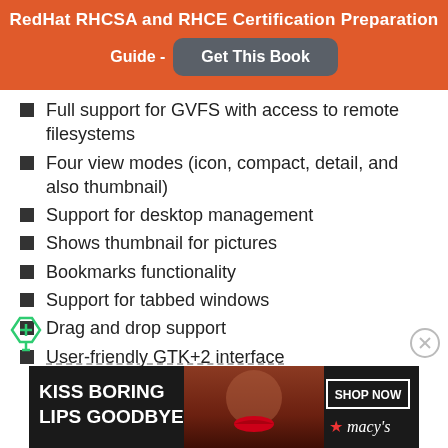RedHat RHCSA and RHCE Certification Preparation Guide - Get This Book
Full support for GVFS with access to remote filesystems
Four view modes (icon, compact, detail, and also thumbnail)
Support for desktop management
Shows thumbnail for pictures
Bookmarks functionality
Support for tabbed windows
Drag and drop support
User-friendly GTK+2 interface
[Figure (infographic): Macy's advertisement banner: 'KISS BORING LIPS GOODBYE' with a woman's face and red lips, SHOP NOW button, Macy's logo with star]